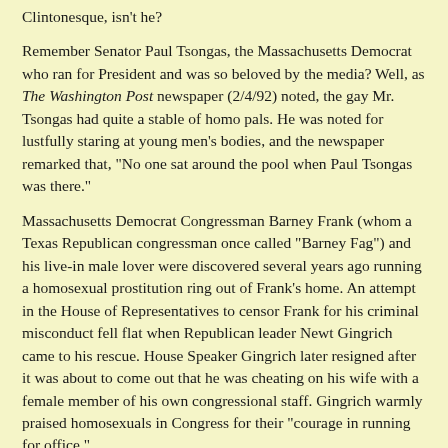Clintonesque, isn't he?
Remember Senator Paul Tsongas, the Massachusetts Democrat who ran for President and was so beloved by the media? Well, as The Washington Post newspaper (2/4/92) noted, the gay Mr. Tsongas had quite a stable of homo pals. He was noted for lustfully staring at young men's bodies, and the newspaper remarked that, "No one sat around the pool when Paul Tsongas was there."
Massachusetts Democrat Congressman Barney Frank (whom a Texas Republican congressman once called "Barney Fag") and his live-in male lover were discovered several years ago running a homosexual prostitution ring out of Frank's home. An attempt in the House of Representatives to censor Frank for his criminal misconduct fell flat when Republican leader Newt Gingrich came to his rescue. House Speaker Gingrich later resigned after it was about to come out that he was cheating on his wife with a female member of his own congressional staff. Gingrich warmly praised homosexuals in Congress for their "courage in running for office."